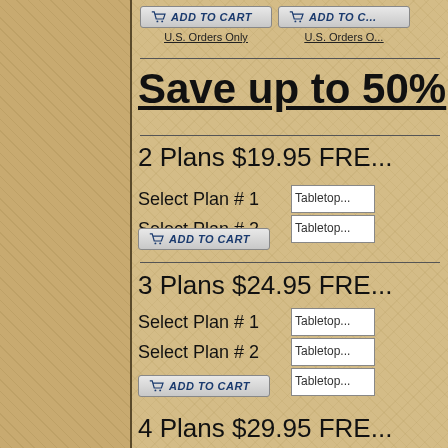[Figure (other): Textured parchment/kraft paper background with a darker left panel separated by a vertical border]
ADD TO CART
ADD TO CART
U.S. Orders Only
U.S. Orders O...
Save up to 50%
2 Plans $19.95 FRE...
Select Plan # 1
Select Plan # 2
ADD TO CART
3 Plans $24.95 FRE...
Select Plan # 1
Select Plan # 2
Select Plan # 3
ADD TO CART
4 Plans $29.95 FRE...